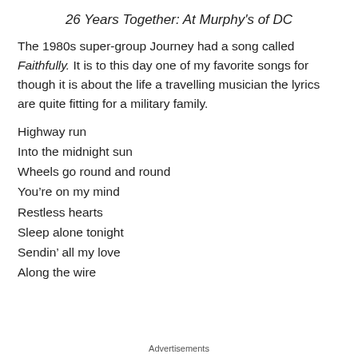26 Years Together: At Murphy's of DC
The 1980s super-group Journey had a song called Faithfully. It is to this day one of my favorite songs for though it is about the life a travelling musician the lyrics are quite fitting for a military family.
Highway run
Into the midnight sun
Wheels go round and round
You’re on my mind
Restless hearts
Sleep alone tonight
Sendin’ all my love
Along the wire
Advertisements